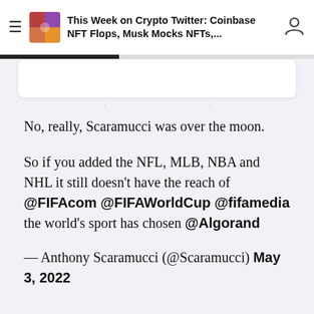This Week on Crypto Twitter: Coinbase NFT Flops, Musk Mocks NFTs,...
No, really, Scaramucci was over the moon.
So if you added the NFL, MLB, NBA and NHL it still doesn't have the reach of @FIFAcom @FIFAWorldCup @fifamedia the world's sport has chosen @Algorand
— Anthony Scaramucci (@Scaramucci) May 3, 2022